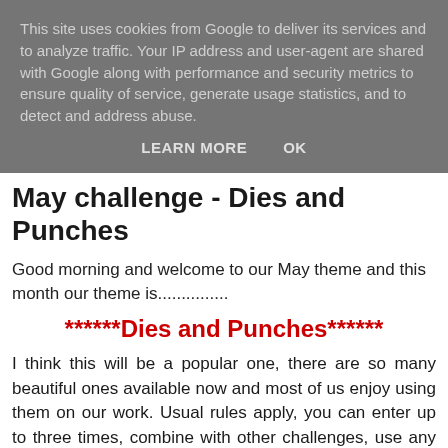This site uses cookies from Google to deliver its services and to analyze traffic. Your IP address and user-agent are shared with Google along with performance and security metrics to ensure quality of service, generate usage statistics, and to detect and address abuse.
LEARN MORE   OK
May challenge - Dies and Punches
Good morning and welcome to our May theme and this month our theme is...............
******Dies and Punches******
I think this will be a popular one, there are so many beautiful ones available now and most of us enjoy using them on our work. Usual rules apply, you can enter up to three times, combine with other challenges, use any make of stamp......but can I please remind you.......